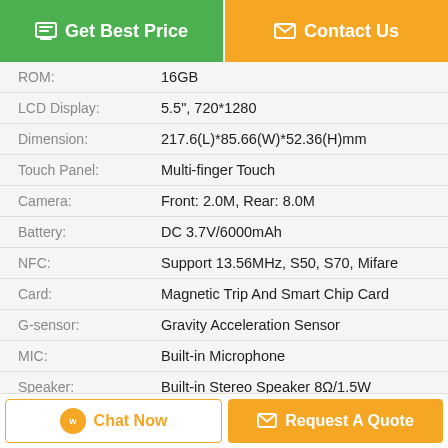| Spec | Value |
| --- | --- |
| ROM: | 16GB |
| LCD Display: | 5.5", 720*1280 |
| Dimension: | 217.6(L)*85.66(W)*52.36(H)mm |
| Touch Panel: | Multi-finger Touch |
| Camera: | Front: 2.0M, Rear: 8.0M |
| Battery: | DC 3.7V/6000mAh |
| NFC: | Support 13.56MHz, S50, S70, Mifare |
| Card: | Magnetic Trip And Smart Chip Card |
| G-sensor: | Gravity Acceleration Sensor |
| MIC: | Built-in Microphone |
| Speaker: | Built-in Stereo Speaker 8Ω/1.5W |
| SIM Card: | Support 1 SIM Card |
| TF: | 1x Mini SD Card Up To 64G |
| BT、GPS: | Yes |
| Earphone: | 3.5mm Stereo Phone Jack |